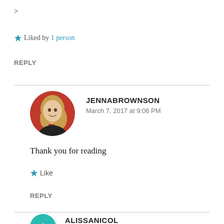>
★ Liked by 1 person
REPLY
JENNABROWNSON
March 7, 2017 at 9:06 PM
[Figure (photo): Circular avatar photo of Jenna Brownson, a woman with long blonde hair smiling, wearing black, with a red background]
Thank you for reading
★ Like
REPLY
ALISSANICOL